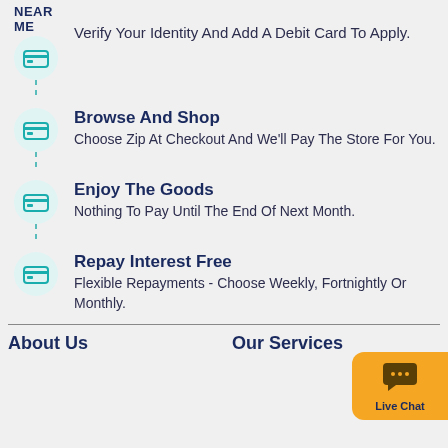NEAR ME
Verify Your Identity And Add A Debit Card To Apply.
Browse And Shop
Choose Zip At Checkout And We'll Pay The Store For You.
Enjoy The Goods
Nothing To Pay Until The End Of Next Month.
Repay Interest Free
Flexible Repayments - Choose Weekly, Fortnightly Or Monthly.
About Us   Our Services
[Figure (illustration): Live Chat button with chat icon, orange background, bottom right]